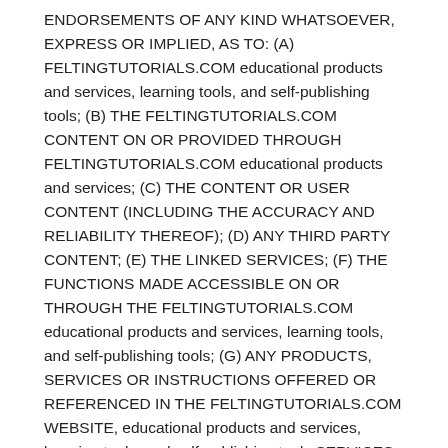ENDORSEMENTS OF ANY KIND WHATSOEVER, EXPRESS OR IMPLIED, AS TO: (A) FELTINGTUTORIALS.COM educational products and services, learning tools, and self-publishing tools; (B) THE FELTINGTUTORIALS.COM CONTENT ON OR PROVIDED THROUGH FELTINGTUTORIALS.COM educational products and services; (C) THE CONTENT OR USER CONTENT (INCLUDING THE ACCURACY AND RELIABILITY THEREOF); (D) ANY THIRD PARTY CONTENT; (E) THE LINKED SERVICES; (F) THE FUNCTIONS MADE ACCESSIBLE ON OR THROUGH THE FELTINGTUTORIALS.COM educational products and services, learning tools, and self-publishing tools; (G) ANY PRODUCTS, SERVICES OR INSTRUCTIONS OFFERED OR REFERENCED IN THE FELTINGTUTORIALS.COM WEBSITE, educational products and services, learning tools, and self-publishing tools SERVICES; AND/OR (H) SECURITY ASSOCIATED WITH THE TRANSMISSION OF INFORMATION TRANSMITTED TO OR FROM FELTINGTUTORIALS.COM OR OTHERS VIA THE FELTINGTUTORIALS.COM WEBSITE, educational products and